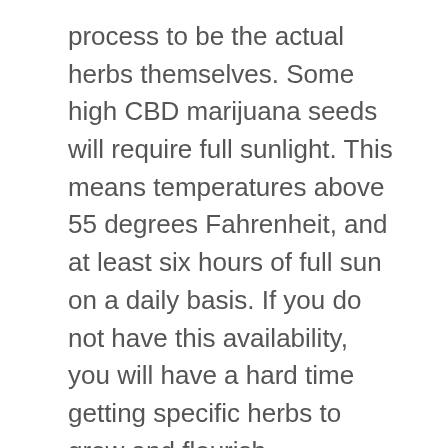process to be the actual herbs themselves. Some high CBD marijuana seeds will require full sunlight. This means temperatures above 55 degrees Fahrenheit, and at least six hours of full sun on a daily basis. If you do not have this availability, you will have a hard time getting specific herbs to grow and flourish.
It will also determine what type of garden you have. For example, you can't have herbs that require full sun planted in an indoor high CBD marijuana seeds garden that won't receive six hours of daylight. That will mean you need to plant your marijuana garden outdoors.
Likewise, if you don't have the room (or